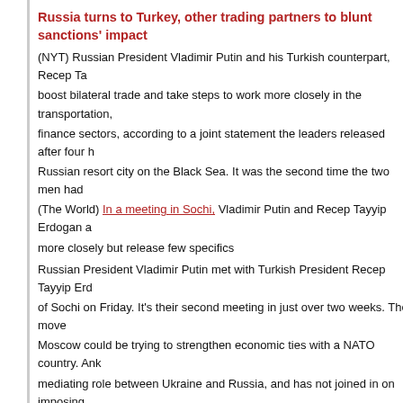Russia turns to Turkey, other trading partners to blunt sanctions' impact
(NYT) Russian President Vladimir Putin and his Turkish counterpart, Recep Ta... boost bilateral trade and take steps to work more closely in the transportation, finance sectors, according to a joint statement the leaders released after four h... Russian resort city on the Black Sea. It was the second time the two men had...
(The World) In a meeting in Sochi, Vladimir Putin and Recep Tayyip Erdogan a... more closely but release few specifics
Russian President Vladimir Putin met with Turkish President Recep Tayyip Erd... of Sochi on Friday. It's their second meeting in just over two weeks. The move... Moscow could be trying to strengthen economic ties with a NATO country. Ank... mediating role between Ukraine and Russia, and has not joined in on imposing... Kremlin. The meeting also comes as talks are set to begin over a potential pris... basketball star Brittney Griner, who was sentenced to nine years in jail in Russ...
17 June
Hackers crash internet as ‘Russian Davos’ adjusts to new reality
(Reuters) – Hackers on Friday delayed the start of President Vladimir Putin’s s... economic forum, shorn of strong Western participation as Russia adjusts to th... Western sanctions.